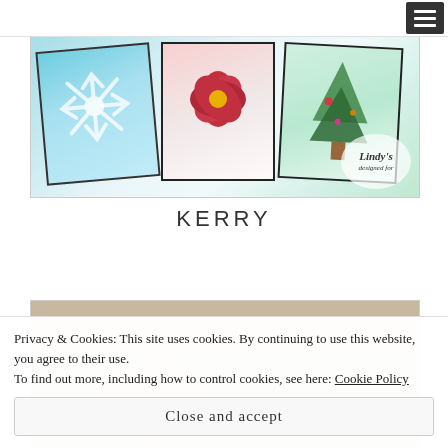Navigation menu button
[Figure (photo): Three decorative Christmas cards displayed against a white brick background. Left card features a snowflake on a teal/blue background, center card shows a red poinsettia flower on light pink, right card has a Christmas tree on mint green. A Lindy's brand logo is visible in the bottom right corner.]
KERRY
[Figure (photo): Partially visible second craft/art image at bottom of page, obscured by cookie consent overlay.]
Privacy & Cookies: This site uses cookies. By continuing to use this website, you agree to their use.
To find out more, including how to control cookies, see here: Cookie Policy
Close and accept